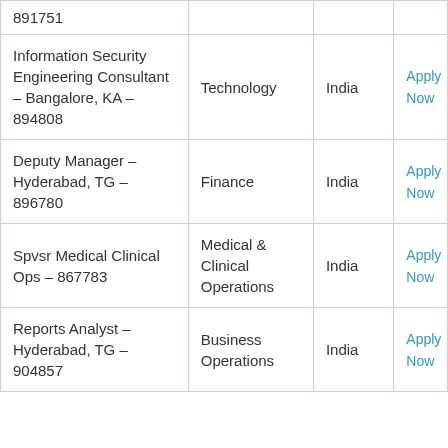| Job Title | Department | Country | Action |
| --- | --- | --- | --- |
| 891751 |  |  |  |
| Information Security Engineering Consultant – Bangalore, KA – 894808 | Technology | India | Apply Now |
| Deputy Manager – Hyderabad, TG – 896780 | Finance | India | Apply Now |
| Spvsr Medical Clinical Ops – 867783 | Medical & Clinical Operations | India | Apply Now |
| Reports Analyst – Hyderabad, TG – 904857 | Business Operations | India | Apply Now |